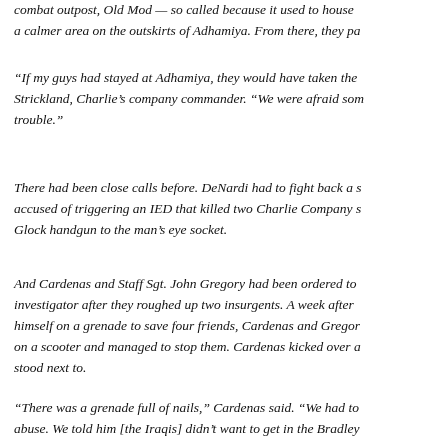combat outpost, Old Mod — so called because it used to house a calmer area on the outskirts of Adhamiya. From there, they pa
“If my guys had stayed at Adhamiya, they would have taken the Strickland, Charlie’s company commander. “We were afraid som trouble.”
There had been close calls before. DeNardi had to fight back a s accused of triggering an IED that killed two Charlie Company s Glock handgun to the man’s eye socket.
And Cardenas and Staff Sgt. John Gregory had been ordered to investigator after they roughed up two insurgents. A week after himself on a grenade to save four friends, Cardenas and Gregor on a scooter and managed to stop them. Cardenas kicked over a stood next to.
“There was a grenade full of nails,” Cardenas said. “We had to abuse. We told him [the Iraqis] didn’t want to get in the Bradley